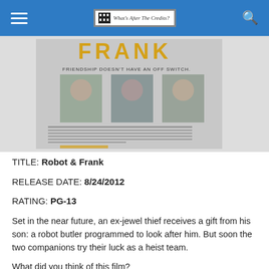What's After The Credits?
[Figure (photo): Movie poster for 'Frank' / Robot & Frank featuring three actors and tagline 'Friendship doesn't have an off switch.']
TITLE: Robot & Frank
RELEASE DATE: 8/24/2012
RATING: PG-13
Set in the near future, an ex-jewel thief receives a gift from his son: a robot butler programmed to look after him. But soon the two companions try their luck as a heist team.
What did you think of this film?
Official Site
Amazon
IMDb